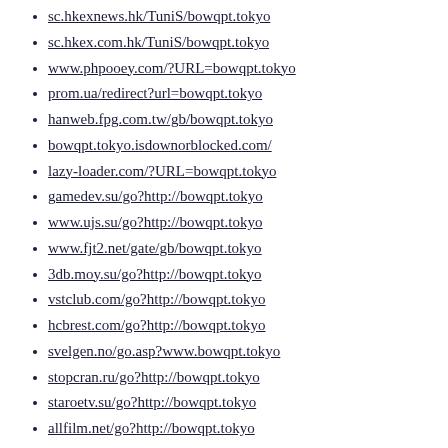sc.hkexnews.hk/TuniS/bowqpt.tokyo
sc.hkex.com.hk/TuniS/bowqpt.tokyo
www.phpooey.com/?URL=bowqpt.tokyo
prom.ua/redirect?url=bowqpt.tokyo
hanweb.fpg.com.tw/gb/bowqpt.tokyo
bowqpt.tokyo.isdownorblocked.com/
lazy-loader.com/?URL=bowqpt.tokyo
gamedev.su/go?http://bowqpt.tokyo
www.ujs.su/go?http://bowqpt.tokyo
www.fjt2.net/gate/gb/bowqpt.tokyo
3db.moy.su/go?http://bowqpt.tokyo
vstclub.com/go?http://bowqpt.tokyo
hcbrest.com/go?http://bowqpt.tokyo
svelgen.no/go.asp?www.bowqpt.tokyo
stopcran.ru/go?http://bowqpt.tokyo
staroetv.su/go?http://bowqpt.tokyo
allfilm.net/go?http://bowqpt.tokyo
hellotw.com/gate/big5/bowqpt.tokyo
rafmedia.ru/r.php?url=bowqpt.tokyo